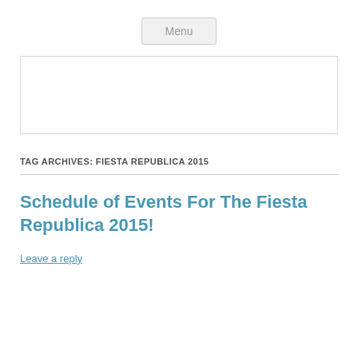Menu
[Figure (other): Empty white banner/advertisement box with light gray border]
TAG ARCHIVES: FIESTA REPUBLICA 2015
Schedule of Events For The Fiesta Republica 2015!
Leave a reply